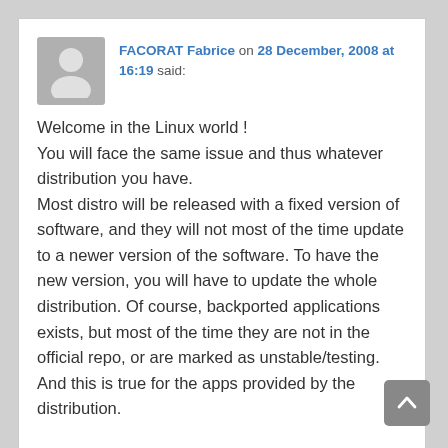FACORAT Fabrice on 28 December, 2008 at 16:19 said:
Welcome in the Linux world ! You will face the same issue and thus whatever distribution you have. Most distro will be released with a fixed version of software, and they will not most of the time update to a newer version of the software. To have the new version, you will have to update the whole distribution. Of course, backported applications exists, but most of the time they are not in the official repo, or are marked as unstable/testing. And this is true for the apps provided by the distribution.

And you are not even talked about the